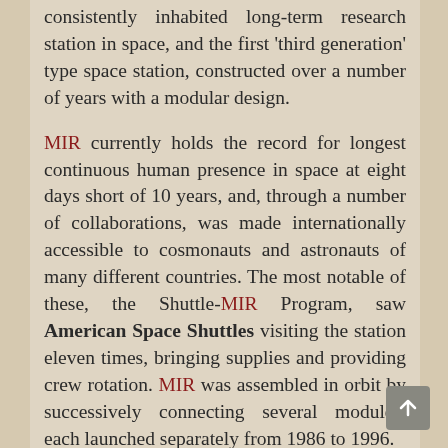consistently inhabited long-term research station in space, and the first 'third generation' type space station, constructed over a number of years with a modular design.
MIR currently holds the record for longest continuous human presence in space at eight days short of 10 years, and, through a number of collaborations, was made internationally accessible to cosmonauts and astronauts of many different countries. The most notable of these, the Shuttle-MIR Program, saw American Space Shuttles visiting the station eleven times, bringing supplies and providing crew rotation. MIR was assembled in orbit by successively connecting several modules, each launched separately from 1986 to 1996.